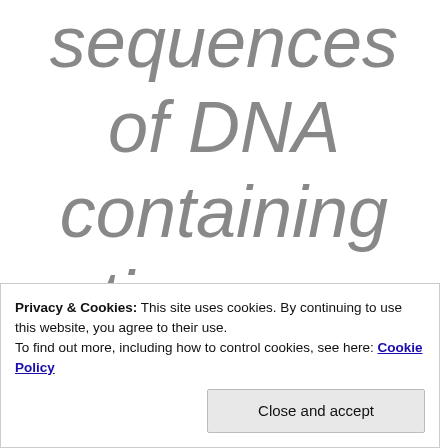sequences of DNA containing active genes and that
Privacy & Cookies: This site uses cookies. By continuing to use this website, you agree to their use.
To find out more, including how to control cookies, see here: Cookie Policy
Close and accept